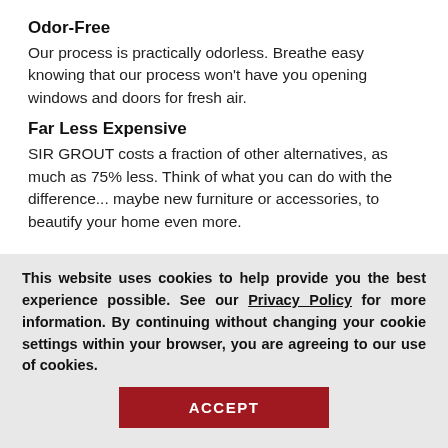Odor-Free
Our process is practically odorless. Breathe easy knowing that our process won't have you opening windows and doors for fresh air.
Far Less Expensive
SIR GROUT costs a fraction of other alternatives, as much as 75% less. Think of what you can do with the difference... maybe new furniture or accessories, to beautify your home even more.
This website uses cookies to help provide you the best experience possible. See our Privacy Policy for more information. By continuing without changing your cookie settings within your browser, you are agreeing to our use of cookies.
ACCEPT